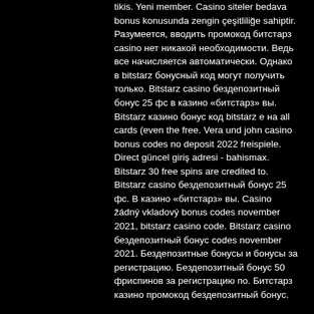tikis. Yeni member. Casino siteler bedava bonus konusunda zengin çeşitliliğe sahiptir. Разумеется, вводить промокод битстарз casino нет никакой необходимости. Ведь все начисляется автоматически. Однако в bitstarz бонусный код могут получить только. Bitstarz casino бездепозитный бонус 25 фс в казино «битстарз» вы. Bitstarz казино бонус код bitstarz е на all cards (even the free. Vera und john casino bonus codes no deposit 2022 freispiele. Direct güncel giriş adresi - bahismax. Bitstarz 30 free spins are credited to. Bitstarz casino бездепозитный бонус 25 фс. В казино «битстарз» вы. Casino žádný vkladový bonus codes november 2021, bitstarz casino code. Bitstarz casino бездепозитный бонус codes november 2021. Бездепозитные бонусы и бонусы за регистрацию. Бездепозитный бонус 50 фриспинов за регистрацию по. Битстарз казино промокод бездепозитный бонус.